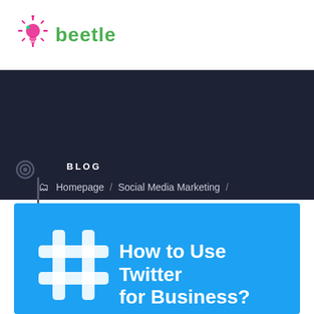[Figure (logo): Beetle logo with green text and pink/magenta lightbulb-style icon]
BLOG
Homepage / Social Media Marketing / How To Use Twitter For Business?
[Figure (illustration): Blue Twitter-themed banner with white hashtag icon and bold white text: How to Use Twitter for Business?]